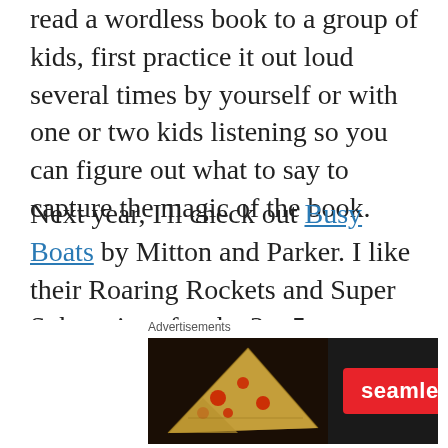read a wordless book to a group of kids, first practice it out loud several times by yourself or with one or two kids listening so you can figure out what to say to capture the magic of the book.
Next year, I'll check out Busy Boats by Mitton and Parker. I like their Roaring Rockets and Super Submarines for the 3 – 5 year olds. They're all part of the Amazing Machines series.
Also check out this post on books about the
[Figure (screenshot): Seamless food delivery advertisement banner showing pizza image on left, Seamless logo in red, and ORDER NOW button on right, with an X close button]